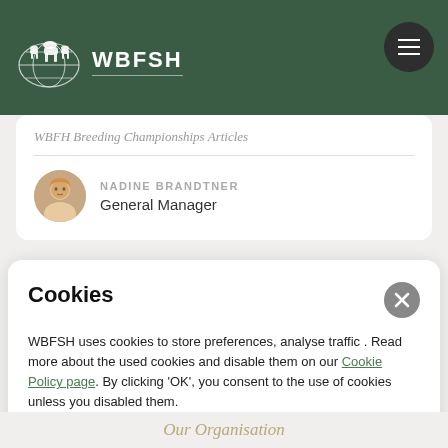WBFSH
WBFH Breeding Championships Articles
NADINE BRANDTNER - General Manager
Cookies
WBFSH uses cookies to store preferences, analyse traffic . Read more about the used cookies and disable them on our Cookie Policy page. By clicking 'OK', you consent to the use of cookies unless you disabled them.
OK
Our Organisation